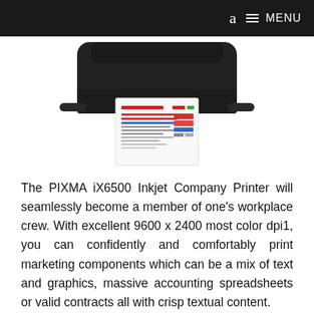a  ≡ MENU
[Figure (photo): Canon PIXMA iX6500 inkjet printer with a colorful printed sheet coming out of it, photographed against a white background.]
The PIXMA iX6500 Inkjet Company Printer will seamlessly become a member of one's workplace crew. With excellent 9600 x 2400 most color dpi1, you can confidently and comfortably print marketing components which can be a mix of text and graphics, massive accounting spreadsheets or valid contracts all with crisp textual content.
The iX6500 is also fantastic for graphic designers printing posters, notion art, sketches and storyboards all with excellent shade and realistic detail. You will also be in a position incorporate on your enterprise printing